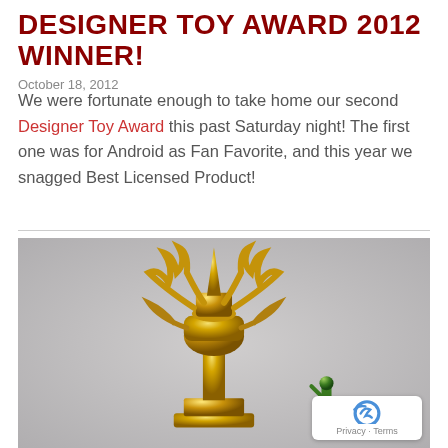DESIGNER TOY AWARD 2012 WINNER!
October 18, 2012
We were fortunate enough to take home our second Designer Toy Award this past Saturday night! The first one was for Android as Fan Favorite, and this year we snagged Best Licensed Product!
[Figure (photo): Close-up photograph of a gold trophy/statue with flame-like and antler-like protrusions on top, along with a smaller green trophy figure beside it, against a light grey background.]